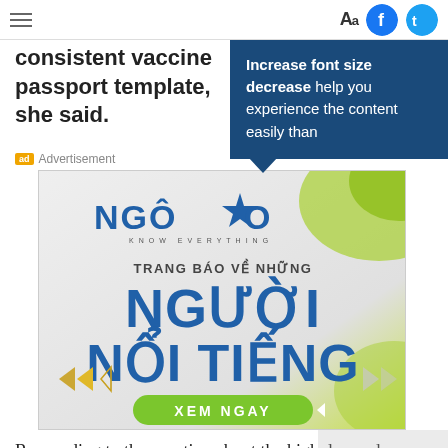Aa [Facebook] [Twitter]
consistent vaccine passport template, she said.
[Figure (screenshot): Tooltip popup with dark blue background showing text: Increase font size decrease help you experience the content easily than]
ad Advertisement
[Figure (illustration): NGOISAO advertisement banner with logo, text TRANG BAO VE NHUNG NGUOI NOI TIENG and XEM NGAY button on light grey-green background]
Responding to the question about the high demand among Vietnamese living abroad to visit Vietnam at the time of Tet, the Lunar New Year festival, Hang